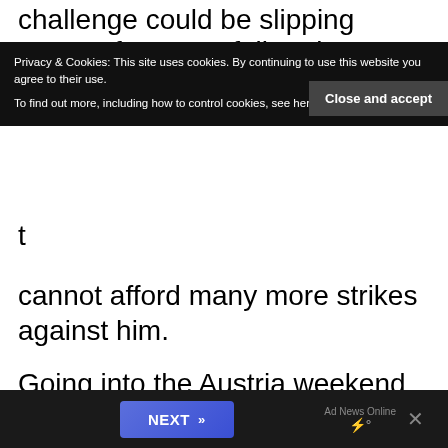challenge could be slipping away. After a car failure in M
Privacy & Cookies: This site uses cookies. By continuing to use this website you agree to their use.
To find out more, including how to control cookies, see here: Cookie Policy
t
cannot afford many more strikes against him.
Going into the Austria weekend, the 2008 world champion said: “Another situation like that (Montreal) and that gap might start to get too big.”
[Figure (screenshot): Ad bar at bottom with NEXT button and close X, dark background]